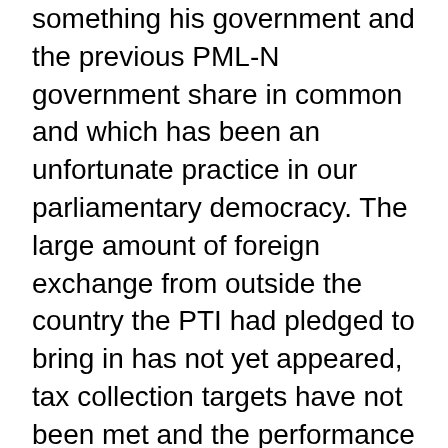something his government and the previous PML-N government share in common and which has been an unfortunate practice in our parliamentary democracy. The large amount of foreign exchange from outside the country the PTI had pledged to bring in has not yet appeared, tax collection targets have not been met and the performance of NAB has come under consistent criticism for failing to deliver transparent accountability.
There have, however, been some good measures that have been widely appreciated. Going by the opinion of many independent observers and analysts, the Ehsaas Programme has indeed helped people in need, having delivered Rs12,000 each to over 12 million households. While the consumption d...